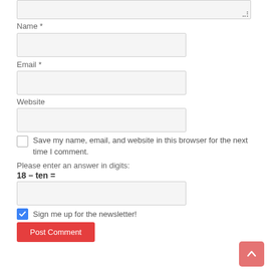[Figure (screenshot): Top portion of a textarea input field (partially visible at top of page) with resize handle at bottom-right]
Name *
[Figure (screenshot): Empty text input field for Name]
Email *
[Figure (screenshot): Empty text input field for Email]
Website
[Figure (screenshot): Empty text input field for Website]
Save my name, email, and website in this browser for the next time I comment.
Please enter an answer in digits:
[Figure (screenshot): Empty text input field for math answer]
Sign me up for the newsletter!
Post Comment